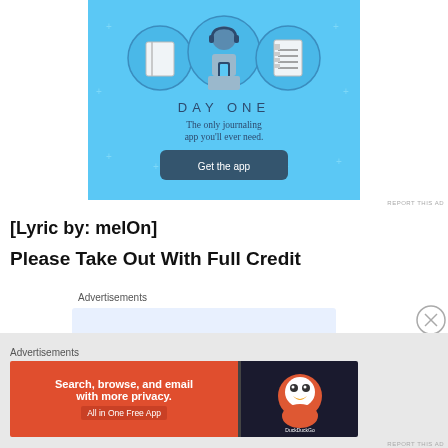[Figure (illustration): Day One journaling app advertisement with blue background showing illustrated person with notebook and list icons, titled DAY ONE with tagline 'The only journaling app you'll ever need.' and a 'Get the app' button]
REPORT THIS AD
[Lyric by: melOn]
Please Take Out With Full Credit
Advertisements
[Figure (illustration): DuckDuckGo advertisement: Search, browse, and email with more privacy. All in One Free App]
Advertisements
REPORT THIS AD